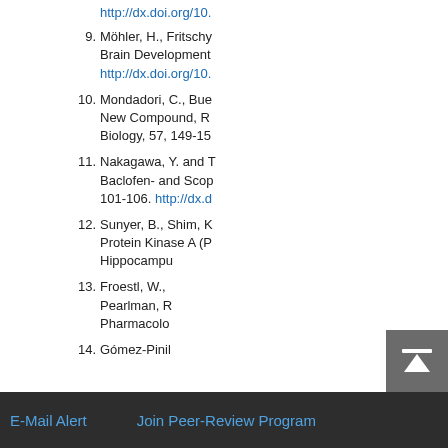http://dx.doi.org/10.
9. Möhler, H., Fritschy... Brain Development... http://dx.doi.org/10.
10. Mondadori, C., Bue... New Compound, R... Biology, 57, 149-15
11. Nakagawa, Y. and T... Baclofen- and Scop... 101-106. http://dx.d
12. Sunyer, B., Shim, K... Protein Kinase A (P... Hippocampu...
13. Froestl, W.,... Pearlman, R... Pharmacolo
14. Gómez-Pinillla...
Top
ABSTRACT
Introduction
Material & Methods
Results
Discussion
E-Mail Alert    Join Peer-Review Program